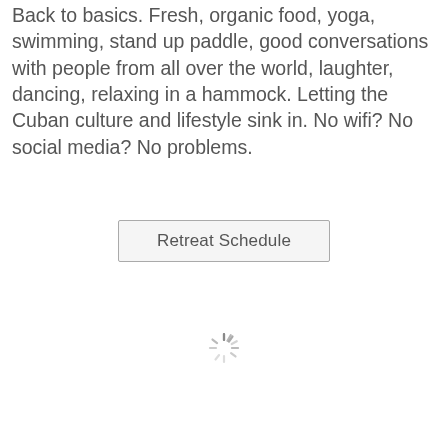Back to basics.  Fresh, organic food, yoga, swimming, stand up paddle, good conversations with people from all over the world, laughter, dancing, relaxing in a hammock.  Letting the Cuban culture and lifestyle sink in.  No wifi? No social media? No problems.
Retreat Schedule
[Figure (other): Loading spinner icon (circular spokes radiating from center)]